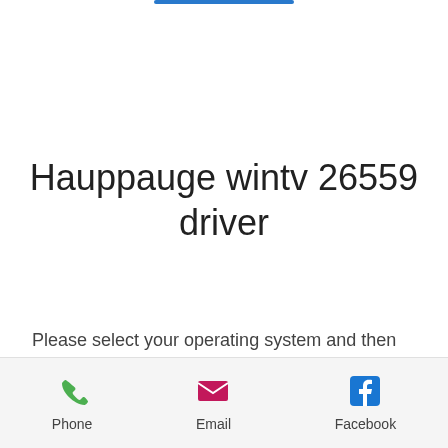Hauppauge wintv 26559 driver
Please select your operating system and then select your country from the list. Click on the Download button to start the installation process. Windows 7/8/8.1/10/10 64-bit/32-bit:
Phone  Email  Facebook